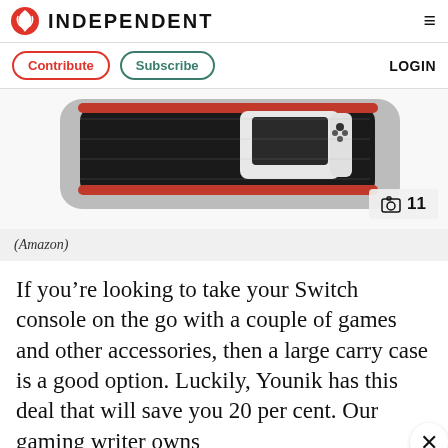INDEPENDENT
Contribute  Subscribe  LOGIN
[Figure (photo): A Nintendo Switch OLED console partially inside an open grey carry case with red lining, showing the white Joy-Con controller.]
(Amazon)
If you’re looking to take your Switch console on the go with a couple of games and other accessories, then a large carry case is a good option. Luckily, Younik has this deal that will save you 20 per cent. Our gaming writer owns